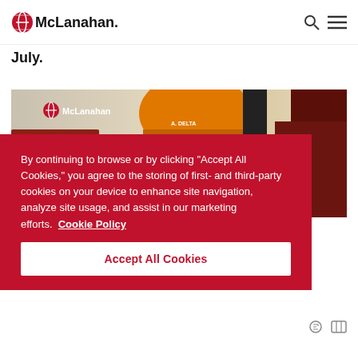McLanahan [logo] [search icon] [menu icon]
July.
[Figure (photo): McLanahan branded photo showing a person in an orange hard hat and dark red equipment/background, with McLanahan logo visible in top-left corner.]
By continuing to browse or by clicking "Accept All Cookies," you agree to the storing of first- and third-party cookies on your device to enhance site navigation, analyze site usage, and assist in our marketing efforts. Cookie Policy
Accept All Cookies